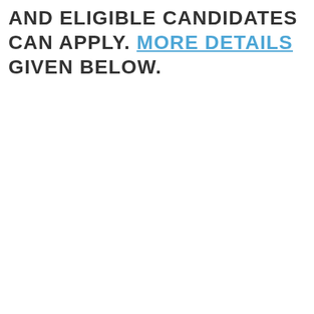AND ELIGIBLE CANDIDATES CAN APPLY. MORE DETAILS GIVEN BELOW.